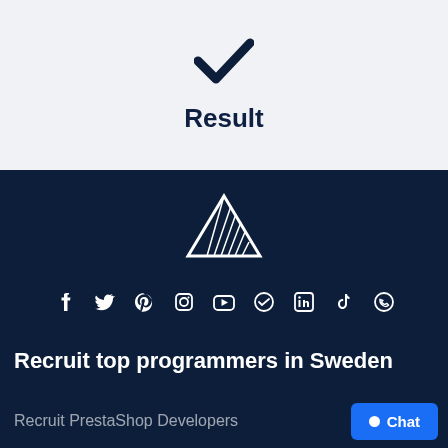[Figure (illustration): Dark blue checkmark icon]
Result
[Figure (logo): Triangle/pyramid logo made of diagonal lines in white outline on dark navy background]
[Figure (infographic): Row of social media icons: Facebook, Twitter, Pinterest, Instagram, YouTube, Telegram, LinkedIn, TikTok, WhatsApp — all white on dark navy]
Recruit top programmers in Sweden
Recruit PrestaShop Developers